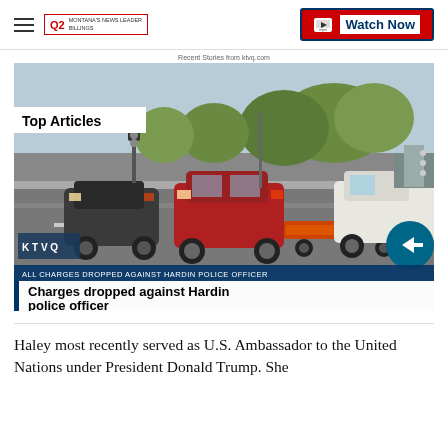Q2 Montana's News Leader Billings | Watch Now
Recent Stories from ktvq.com
[Figure (photo): Street scene with vehicles including a red SUV towing a flatbed trailer, with a 'Top Articles' badge overlay and headline 'Charges dropped against Hardin police officer']
Haley most recently served as U.S. Ambassador to the United Nations under President Donald Trump. She